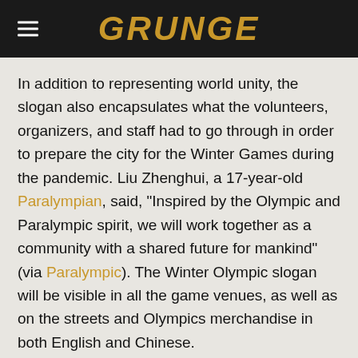GRUNGE
In addition to representing world unity, the slogan also encapsulates what the volunteers, organizers, and staff had to go through in order to prepare the city for the Winter Games during the pandemic. Liu Zhenghui, a 17-year-old Paralympian, said, "Inspired by the Olympic and Paralympic spirit, we will work together as a community with a shared future for mankind" (via Paralympic). The Winter Olympic slogan will be visible in all the game venues, as well as on the streets and Olympics merchandise in both English and Chinese.
RECOMMENDED
[Figure (photo): Thumbnail image on the left side of recommended section]
[Figure (photo): Thumbnail image on the right side of recommended section]